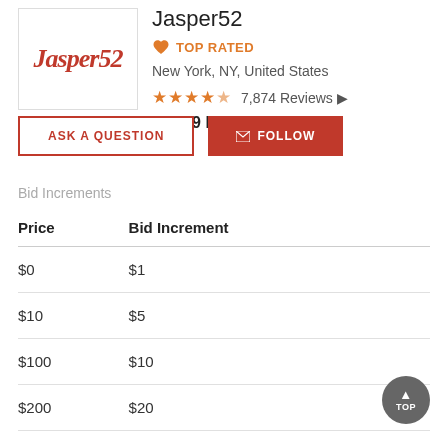[Figure (logo): Jasper52 logo in red italic script font inside a white bordered box]
Jasper52
TOP RATED
New York, NY, United States
7,874 Reviews
40,249 Followers
ASK A QUESTION
FOLLOW
Bid Increments
| Price | Bid Increment |
| --- | --- |
| $0 | $1 |
| $10 | $5 |
| $100 | $10 |
| $200 | $20 |